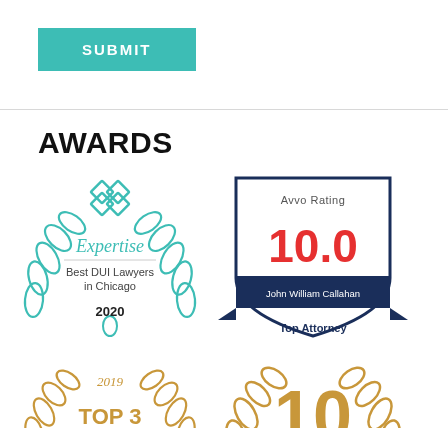[Figure (other): Teal/turquoise SUBMIT button]
AWARDS
[Figure (illustration): Expertise badge: Best DUI Lawyers in Chicago 2020, with teal laurel wreath and diamond logo]
[Figure (illustration): Avvo Rating 10.0 badge for John William Callahan, Top Attorney, shield shape with navy blue banner]
[Figure (illustration): 2019 TOP badge with gold laurel wreath (partially visible at bottom)]
[Figure (illustration): Gold laurel wreath award badge with number 10 (partially visible at bottom right)]